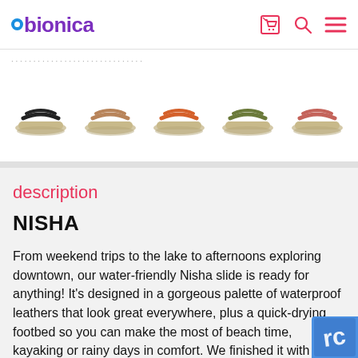bionica
[Figure (photo): Five color variants of the Nisha sandal slide shown as thumbnail images in a row: black, tan/nude, orange, olive/green, and pink/coral]
description
NISHA
From weekend trips to the lake to afternoons exploring downtown, our water-friendly Nisha slide is ready for anything! It's designed in a gorgeous palette of waterproof leathers that look great everywhere, plus a quick-drying footbed so you can make the most of beach time, kayaking or rainy days in comfort. We finished it with a sporty, slip-resistant outsole that delivers the traction you need on wet